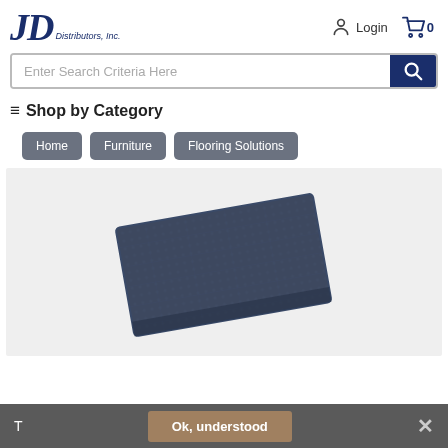JD Distributors, Inc. | Login | Cart 0
Enter Search Criteria Here
≡ Shop by Category
Home
Furniture
Flooring Solutions
[Figure (photo): A dark navy blue rectangular floor mat/rug shown at an angle on a light grey background]
T   Ok, understood   ✕